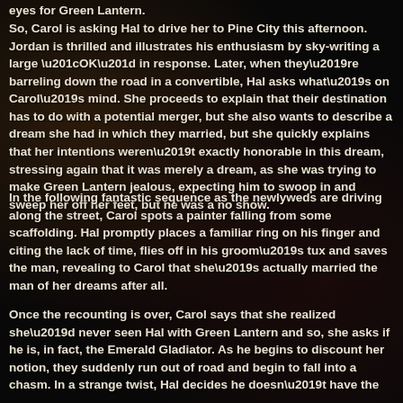eyes for Green Lantern.
So, Carol is asking Hal to drive her to Pine City this afternoon. Jordan is thrilled and illustrates his enthusiasm by sky-writing a large “OK” in response. Later, when they’re barreling down the road in a convertible, Hal asks what’s on Carol’s mind. She proceeds to explain that their destination has to do with a potential merger, but she also wants to describe a dream she had in which they married, but she quickly explains that her intentions weren’t exactly honorable in this dream, stressing again that it was merely a dream, as she was trying to make Green Lantern jealous, expecting him to swoop in and sweep her off her feet, but he was a no show.
In the following fantastic sequence as the newlyweds are driving along the street, Carol spots a painter falling from some scaffolding. Hal promptly places a familiar ring on his finger and citing the lack of time, flies off in his groom’s tux and saves the man, revealing to Carol that she’s actually married the man of her dreams after all.
Once the recounting is over, Carol says that she realized she’d never seen Hal with Green Lantern and so, she asks if he is, in fact, the Emerald Gladiator. As he begins to discount her notion, they suddenly run out of road and begin to fall into a chasm. In a strange twist, Hal decides he doesn’t have the